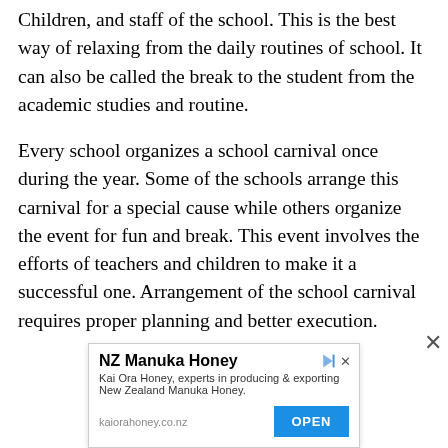Children, and staff of the school. This is the best way of relaxing from the daily routines of school. It can also be called the break to the student from the academic studies and routine.
Every school organizes a school carnival once during the year. Some of the schools arrange this carnival for a special cause while others organize the event for fun and break. This event involves the efforts of teachers and children to make it a successful one. Arrangement of the school carnival requires proper planning and better execution.
[Figure (other): Advertisement banner for NZ Manuka Honey by Kai Ora Honey. Title: 'NZ Manuka Honey'. Body text: 'Kai Ora Honey, experts in producing & exporting New Zealand Manuka Honey.' URL: kaiorahoney.co.nz. Button: 'OPEN'. Includes AdChoices icon and close button.]